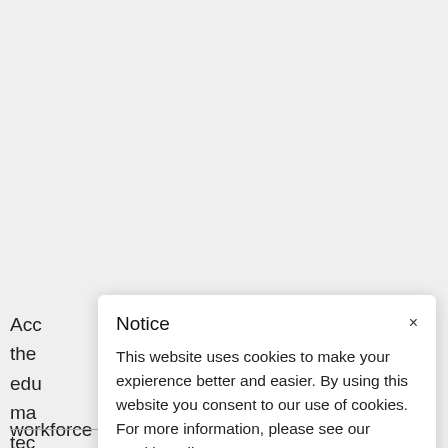Acc
the
edu
ma
tec
wo
Notice
×
This website uses cookies to make your expierence better and easier. By using this website you consent to our use of cookies. For more information, please see our Cookie Policy.
workforce development programs and the rest